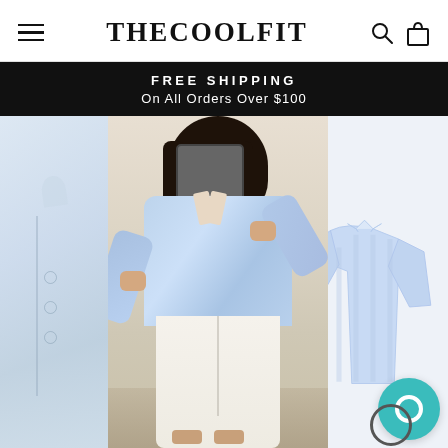THECOOLFIT
FREE SHIPPING
On All Orders Over $100
[Figure (photo): E-commerce website screenshot showing THECOOLFIT logo header with hamburger menu, search and cart icons, a black banner reading FREE SHIPPING On All Orders Over $100, and product images below: a woman modeling a light blue oversized shirt with white pants (center), a partial shirt detail on the far left, a flat-lay light blue printed shirt product image on the right, and a teal chat bubble icon in the lower right.]